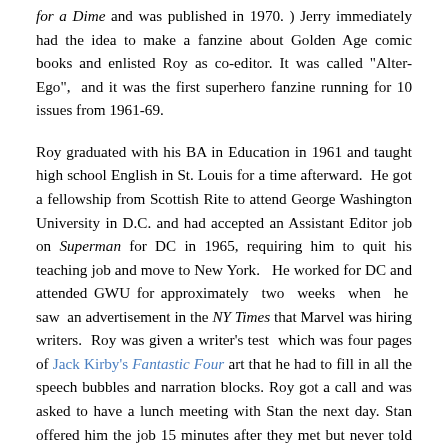for a Dime and was published in 1970. ) Jerry immediately had the idea to make a fanzine about Golden Age comic books and enlisted Roy as co-editor. It was called "Alter-Ego", and it was the first superhero fanzine running for 10 issues from 1961-69.
Roy graduated with his BA in Education in 1961 and taught high school English in St. Louis for a time afterward. He got a fellowship from Scottish Rite to attend George Washington University in D.C. and had accepted an Assistant Editor job on Superman for DC in 1965, requiring him to quit his teaching job and move to New York. He worked for DC and attended GWU for approximately two weeks when he saw an advertisement in the NY Times that Marvel was hiring writers. Roy was given a writer's test which was four pages of Jack Kirby's Fantastic Four art that he had to fill in all the speech bubbles and narration blocks. Roy got a call and was asked to have a lunch meeting with Stan the next day. Stan offered him the job 15 minutes after they met but never told him what he thought about his